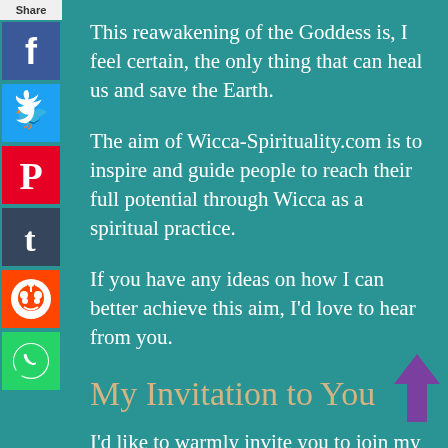[Figure (infographic): Social sharing sidebar with Share label and icons for Facebook, Twitter, Pinterest, Tumblr, Reddit, WhatsApp]
This reawakening of the Goddess is, I feel certain, the only thing that can heal us and save the Earth.
The aim of Wicca-Spirituality.com is to inspire and guide people to reach their full potential through Wicca as a spiritual practice.
If you have any ideas on how I can better achieve this aim, I'd love to hear from you.
My Invitation to You
I'd like to warmly invite you to join my acclaimed newsletter community, eLOVEation — a haven of loving support from me and
[Figure (illustration): Purple upward-pointing arrow in the bottom right corner]